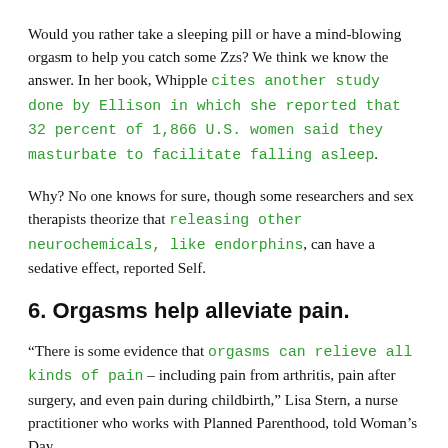Would you rather take a sleeping pill or have a mind-blowing orgasm to help you catch some Zzs? We think we know the answer. In her book, Whipple cites another study done by Ellison in which she reported that 32 percent of 1,866 U.S. women said they masturbate to facilitate falling asleep.
Why? No one knows for sure, though some researchers and sex therapists theorize that releasing other neurochemicals, like endorphins, can have a sedative effect, reported Self.
6. Orgasms help alleviate pain.
“There is some evidence that orgasms can relieve all kinds of pain – including pain from arthritis, pain after surgery, and even pain during childbirth,” Lisa Stern, a nurse practitioner who works with Planned Parenthood, told Woman’s Day.
The ...